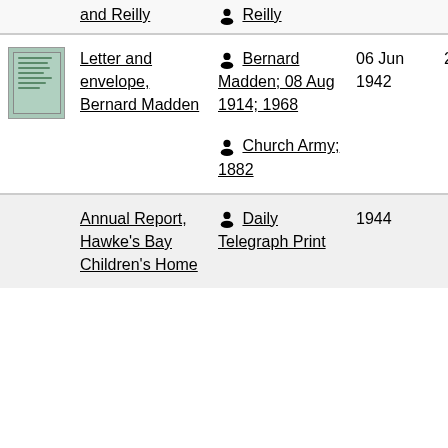and Reilly
Reilly
Letter and envelope, Bernard Madden
Bernard Madden; 08 Aug 1914; 1968
Church Army; 1882
06 Jun 1942
2013/65/4
Annual Report, Hawke's Bay Children's Home
Daily Telegraph Print
1944